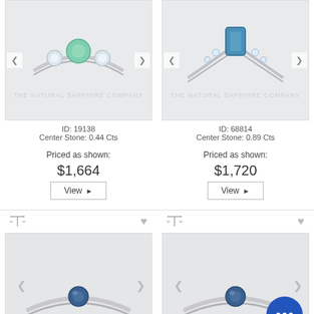[Figure (photo): White gold ring with green sapphire center stone flanked by two white diamonds, on light gray background, The Natural Sapphire Company watermark]
[Figure (photo): White gold split-shank ring with blue-green rectangular sapphire center stone and diamond accents, on light gray background, The Natural Sapphire Company watermark]
ID: 19138
Center Stone: 0.44 Cts
ID: 68814
Center Stone: 0.89 Cts
Priced as shown:
Priced as shown:
$1,664
$1,720
View ▶
View ▶
[Figure (photo): Minimalist white gold solitaire ring with small round blue sapphire center stone, on light gray background, The Natural Sapphire Company watermark]
[Figure (photo): Minimalist white gold solitaire ring with small round blue sapphire center stone, on light gray background, The Natural Sapphire Company watermark, chat bubble overlay]